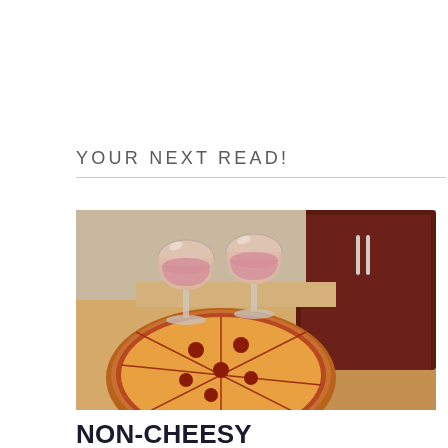YOUR NEXT READ!
[Figure (photo): A photo of two wine glasses filled with rosé wine sitting on top of a pizza box, with a pizza visible in the open box below. A dark red/maroon fabric is visible in the background on the right side.]
NON-CHEESY VALENTINE'S DAY DATE